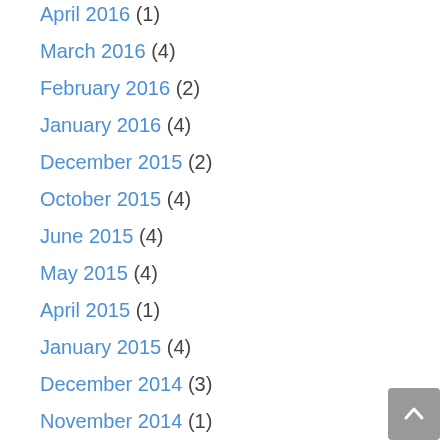April 2016 (1)
March 2016 (4)
February 2016 (2)
January 2016 (4)
December 2015 (2)
October 2015 (4)
June 2015 (4)
May 2015 (4)
April 2015 (1)
January 2015 (4)
December 2014 (3)
November 2014 (1)
October 2014 (1)
July 2014 (1)
June 2014 (2)